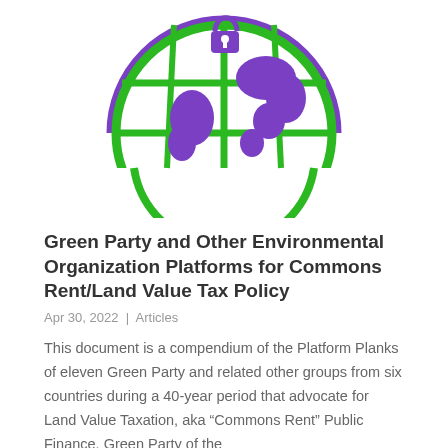[Figure (logo): Globe icon with green grid lines and purple landmasses, with a purple padlock at the center top. The globe is shown as a lower hemisphere with a thick purple arc border and green meridian/parallel lines. Purple continent shapes visible inside.]
Green Party and Other Environmental Organization Platforms for Commons Rent/Land Value Tax Policy
Apr 30, 2022 | Articles
This document is a compendium of the Platform Planks of eleven Green Party and related other groups from six countries during a 40-year period that advocate for Land Value Taxation, aka “Commons Rent” Public Finance. Green Party of the